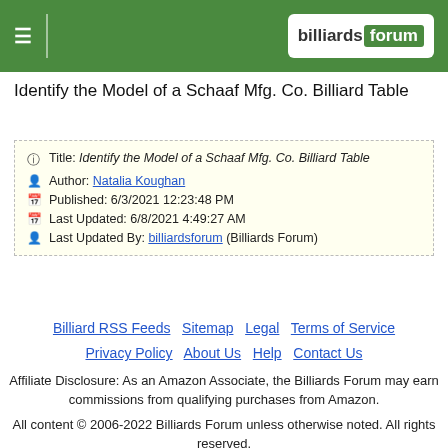billiards forum
Identify the Model of a Schaaf Mfg. Co. Billiard Table
| Title: | Identify the Model of a Schaaf Mfg. Co. Billiard Table |
| Author: | Natalia Koughan |
| Published: | 6/3/2021 12:23:48 PM |
| Last Updated: | 6/8/2021 4:49:27 AM |
| Last Updated By: | billiardsforum (Billiards Forum) |
Billiard RSS Feeds  Sitemap  Legal  Terms of Service  Privacy Policy  About Us  Help  Contact Us
Affiliate Disclosure: As an Amazon Associate, the Billiards Forum may earn commissions from qualifying purchases from Amazon.
All content © 2006-2022 Billiards Forum unless otherwise noted. All rights reserved.